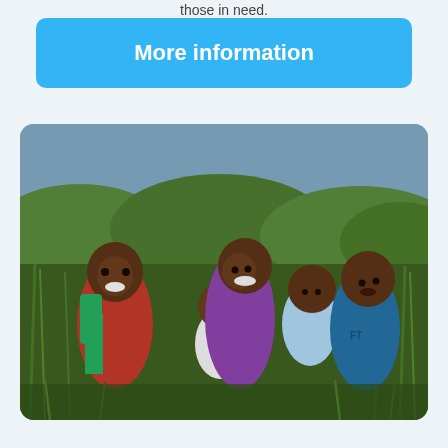those in need.
More information
[Figure (photo): A woman with four children smiling outdoors in a grassy area. The children are of varying ages including a baby being held. The group appears to be in Ethiopia or similar East African setting with green vegetation in the background.]